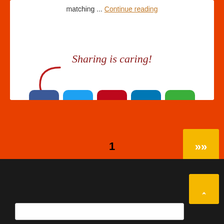matching ... Continue reading
[Figure (infographic): Sharing is caring section with social media icons: Facebook, Twitter, Pinterest, LinkedIn, and a green share button, with a decorative curved arrow pointing to the icons.]
1
[Figure (other): Yellow next page button with >> arrow]
[Figure (other): Yellow up/scroll-to-top button with caret symbol]
Search bar at bottom of page